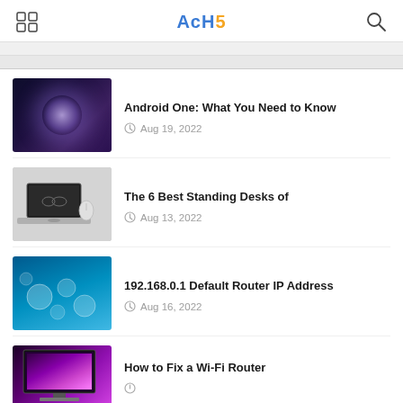AcHs (logo)
[Figure (screenshot): Website screenshot showing a list of tech articles with thumbnails]
Android One: What You Need to Know
Aug 19, 2022
The 6 Best Standing Desks of
Aug 13, 2022
192.168.0.1 Default Router IP Address
Aug 16, 2022
How to Fix a Wi-Fi Router